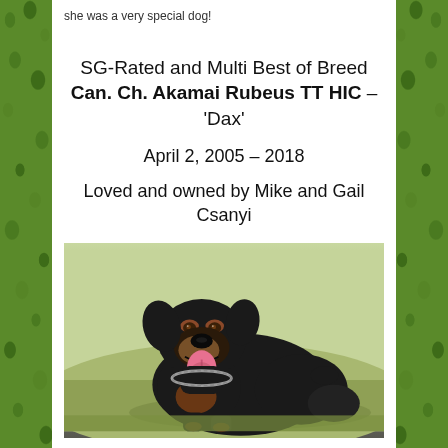she was a very special dog!
SG-Rated and Multi Best of Breed Can. Ch. Akamai Rubeus TT HIC – 'Dax'
April 2, 2005 – 2018
Loved and owned by Mike and Gail Csanyi
[Figure (photo): Photo of a black and tan Rottweiler dog with tongue out, wearing a chain collar, standing in a grassy field.]